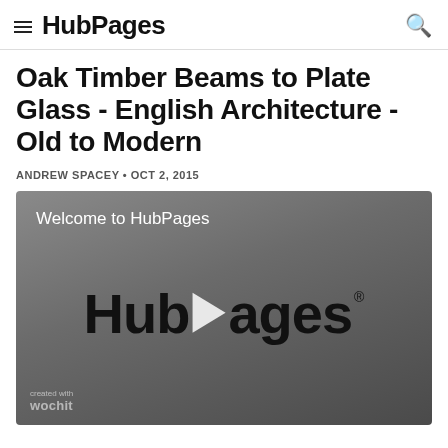HubPages
Oak Timber Beams to Plate Glass - English Architecture - Old to Modern
ANDREW SPACEY • OCT 2, 2015
[Figure (screenshot): HubPages video thumbnail showing 'Welcome to HubPages' text at top left, large HubPages logo with play button in center on dark gray background, wochit watermark at bottom left]